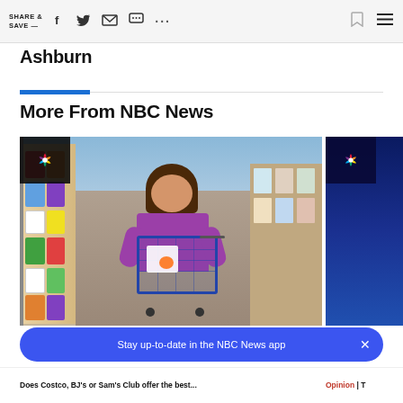SHARE & SAVE —
Ashburn
More From NBC News
[Figure (photo): Woman in purple shirt pushing a shopping cart through a warehouse store aisle with product shelves, NBC News logo overlay in top-left corner]
[Figure (photo): Partial view of a dark blue image with NBC News logo overlay, second card partially visible on the right]
Does Costco, BJ's or Sam's Club offer the best...
Opinion | T
Stay up-to-date in the NBC News app